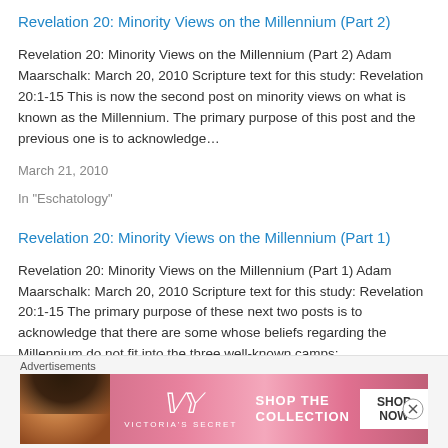Revelation 20: Minority Views on the Millennium (Part 2)
Revelation 20: Minority Views on the Millennium (Part 2) Adam Maarschalk: March 20, 2010 Scripture text for this study: Revelation 20:1-15 This is now the second post on minority views on what is known as the Millennium. The primary purpose of this post and the previous one is to acknowledge…
March 21, 2010
In "Eschatology"
Revelation 20: Minority Views on the Millennium (Part 1)
Revelation 20: Minority Views on the Millennium (Part 1) Adam Maarschalk: March 20, 2010 Scripture text for this study: Revelation 20:1-15 The primary purpose of these next two posts is to acknowledge that there are some whose beliefs regarding the Millennium do not fit into the three well-known camps: premillennialism,…
March 21, 2010
Advertisements
[Figure (other): Victoria's Secret advertisement banner: pink background with model's face on left, VS logo in center, 'SHOP THE COLLECTION' text, and 'SHOP NOW' button on right]